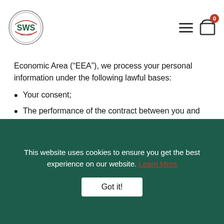SWS logo, navigation menu and cart
Economic Area (“EEA”), we process your personal information under the following lawful bases:
Your consent;
The performance of the contract between you and the Site;
Compliance with our legal obligations;
To protect your vital interests;
To perform a task carried out in the public interest;
For our legitimate interests, which do not override your fundamental rights and freedoms.
This website uses cookies to ensure you get the best experience on our website. Learn More Got it!